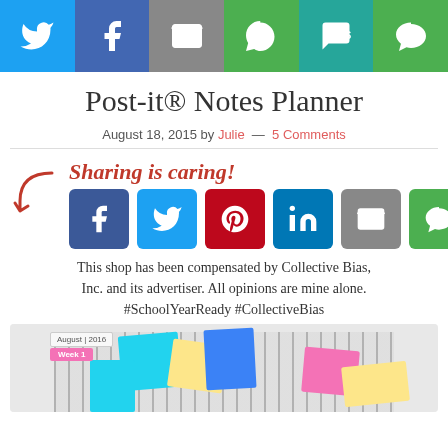[Figure (infographic): Social sharing toolbar with icons: Twitter (blue), Facebook (dark blue), Email (grey), WhatsApp (green), SMS (teal), More (green)]
Post-it® Notes Planner
August 18, 2015 by Julie — 5 Comments
[Figure (infographic): Sharing is caring! section with arrow and social media icons: Facebook (blue), Twitter (light blue), Pinterest (red), LinkedIn (dark blue), Email (grey), More (green)]
This shop has been compensated by Collective Bias, Inc. and its advertiser. All opinions are mine alone. #SchoolYearReady #CollectiveBias
[Figure (photo): Photo of a Post-it Notes planner with colorful sticky notes (cyan, yellow, blue, pink) on a houndstooth-patterned notebook. Labels show August 2016 and Week 1.]